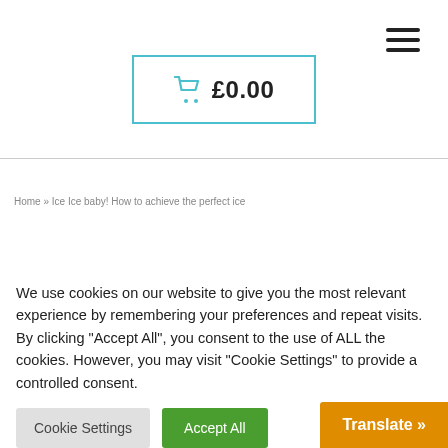[Figure (other): Hamburger menu icon (three horizontal lines) in top right corner]
[Figure (other): Shopping cart icon with £0.00 text inside a teal-bordered rectangle]
Home » Ice Ice baby! How to achieve the perfect ice
We use cookies on our website to give you the most relevant experience by remembering your preferences and repeat visits. By clicking "Accept All", you consent to the use of ALL the cookies. However, you may visit "Cookie Settings" to provide a controlled consent.
Cookie Settings
Accept All
Translate »